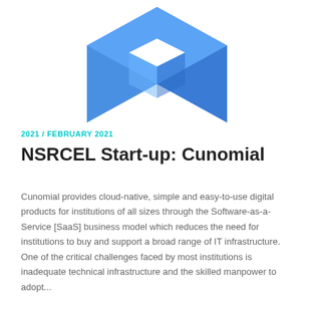[Figure (logo): Blue geometric logo — a 3D box/cube shape made of blue polygons with a white cut-out in the center, partially cropped at the top of the page]
2021 / FEBRUARY 2021
NSRCEL Start-up: Cunomial
Cunomial provides cloud-native, simple and easy-to-use digital products for institutions of all sizes through the Software-as-a-Service [SaaS] business model which reduces the need for institutions to buy and support a broad range of IT infrastructure. One of the critical challenges faced by most institutions is inadequate technical infrastructure and the skilled manpower to adopt...